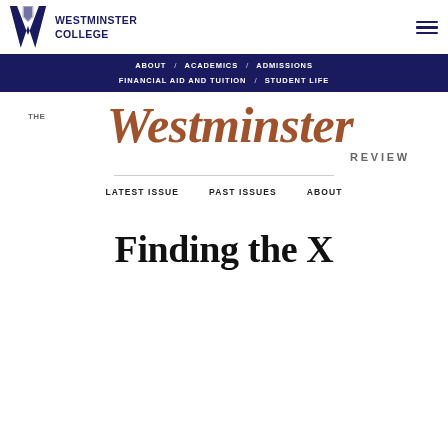Westminster College
[Figure (logo): Westminster College W logo with shield and text WESTMINSTER COLLEGE]
ABOUT / ACADEMICS / ADMISSIONS / FINANCIAL AID AND TUITION / STUDENT LIFE
[Figure (logo): The Westminster Review logo in gold italic serif font with REVIEW in small caps]
LATEST ISSUE   PAST ISSUES   ABOUT
Finding the X